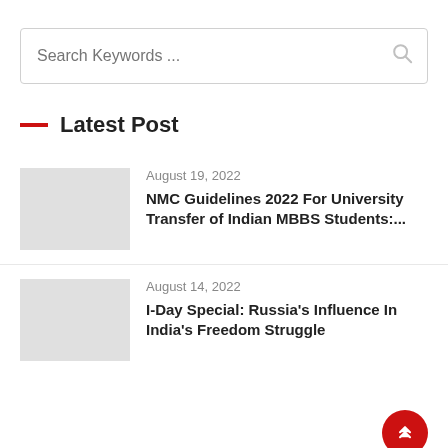Search Keywords ...
— Latest Post
August 19, 2022
NMC Guidelines 2022 For University Transfer of Indian MBBS Students:...
August 14, 2022
I-Day Special: Russia's Influence In India's Freedom Struggle